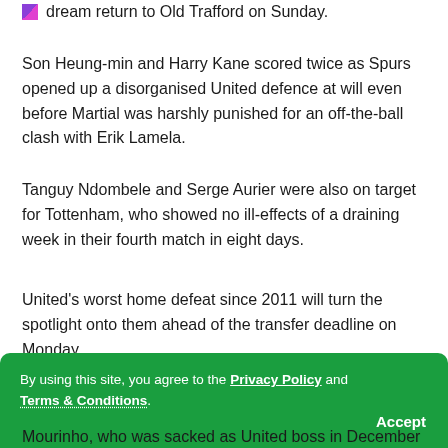dream return to Old Trafford on Sunday.
Son Heung-min and Harry Kane scored twice as Spurs opened up a disorganised United defence at will even before Martial was harshly punished for an off-the-ball clash with Erik Lamela.
Tanguy Ndombele and Serge Aurier were also on target for Tottenham, who showed no ill-effects of a draining week in their fourth match in eight days.
United's worst home defeat since 2011 will turn the spotlight onto them ahead of the transfer deadline on Monday.
Uruguayan striker Edison Cavani is reportedly set to join the Red Devils, but it is at the other end of the field Ole Gunnar
Mourinho, who was sacked as United boss in December
By using this site, you agree to the Privacy Policy and Terms & Conditions.